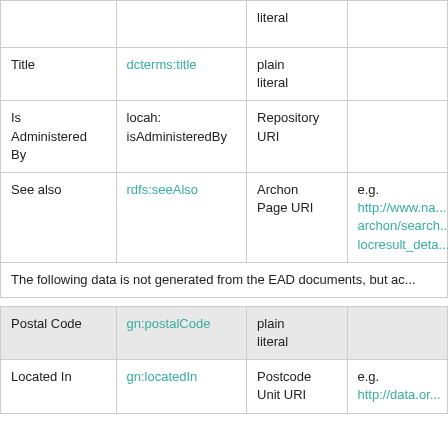|  |  | literal |  |
| --- | --- | --- | --- |
| Title | dcterms:title | plain literal |  |
| Is Administered By | locah: isAdministeredBy | Repository URI |  |
| See also | rdfs:seeAlso | Archon Page URI | e.g. http://www.na... archon/search... locresult_deta... |
| The following data is not generated from the EAD documents, but ac... |  |  |  |
| Postal Code | gn:postalCode | plain literal |  |
| Located In | gn:locatedIn | Postcode Unit URI | e.g. http://data.or... |